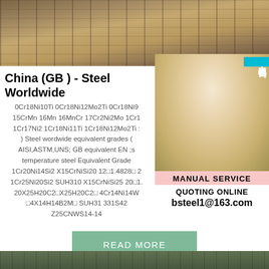[Figure (photo): Top photo of steel rails or metal bars on ground with dirt/gravel]
[Figure (photo): Customer service representative (woman with headset) with cyan Chinese text badge '在线咨询' (Online Consultation), MANUAL SERVICE bar, QUOTING ONLINE text, and bsteel1@163.com email]
China (GB ) - Steel Worldwide
0Cr18Ni10Ti 0Cr18Ni12Mo2Ti 0Cr18Ni9 15CrMn 16Mn 16MnCr 17Cr2Ni2Mo 1Cr1 1Cr17Ni2 1Cr18Ni11Ti 1Cr18Ni12Mo2Ti ) Steel wordwide equivalent grades ( AISI,ASTM,UNS; GB equivalent EN ;s temperature steel Equivalent Grade 1Cr20Ni14Si2 X15CrNiSi20 12□1.4828□ 2 1Cr25Ni20Si2 SUH310 X15CrNiSi25 20□1. 20X25H20C2□X25H20C2□ 4Cr14Ni14W □4X14H14B2M□ SUH31 331S42 Z25CNWS14-14
[Figure (photo): Bottom photo of steel or metal industrial materials]
READ MORE